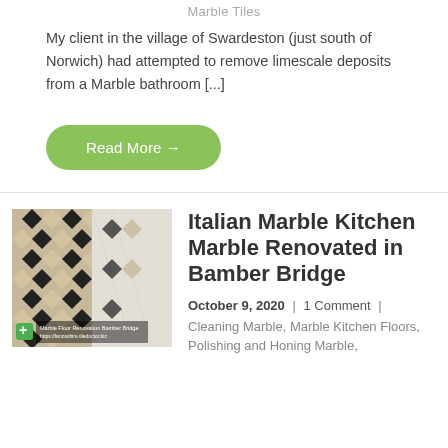Marble Tiles
My client in the village of Swardeston (just south of Norwich) had attempted to remove limescale deposits from a Marble bathroom [...]
Read More →
[Figure (photo): Photo of marble kitchen floor tiles in a black and white diamond pattern, with text overlay reading 'Marble Floor Renovation Bamber Bridge https://lancashire.tiledoctor.biz']
Italian Marble Kitchen Marble Renovated in Bamber Bridge
October 9, 2020 | 1 Comment | Cleaning Marble, Marble Kitchen Floors, Polishing and Honing Marble,